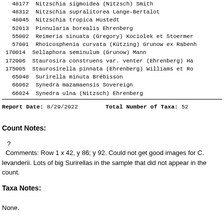48177  Nitzschia sigmoidea (Nitzsch) Smith
48312  Nitzschia supralitorea Lange-Bertalot
48045  Nitzschia tropica Hustedt
52013  Pinnularia borealis Ehrenberg
55002  Reimeria sinuata (Gregory) Kociolek et Stoermer
57001  Rhoicosphenia curvata (Kützing) Grunow ex Rabenh
170014  Sellaphora seminulum (Grunow) Mann
172006  Staurosira construens var. venter (Ehrenberg) Ha
175005  Staurosirella pinnata (Ehrenberg) Williams et Ro
65048  Surirella minuta Brébisson
66062  Synedra mazamaensis Sovereign
66024  Synedra ulna (Nitzsch) Ehrenberg
Report Date: 8/29/2022     Total Number of Taxa: 52
Count Notes:
?
  Comments: Row 1 x 42, y 86; y 92. Could not get good images for C. levanderii. Lots of big Surirellas in the sample that did not appear in the count.
Taxa Notes:
None.